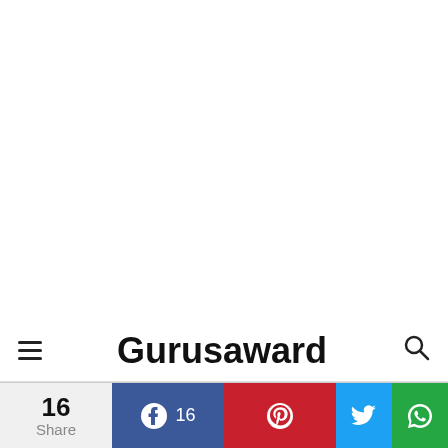Gurusaward
16 Share | Facebook 16 | Pinterest | Twitter | WhatsApp